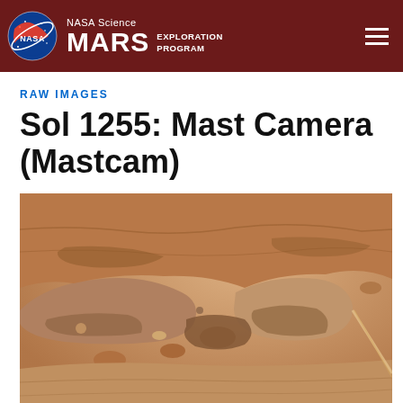NASA Science MARS EXPLORATION PROGRAM
RAW IMAGES
Sol 1255: Mast Camera (Mastcam)
[Figure (photo): Mars surface photograph taken by the Mast Camera (Mastcam) on Sol 1255, showing rocky terrain with sandy, brownish-orange colored rocks and geological formations on the Martian surface.]